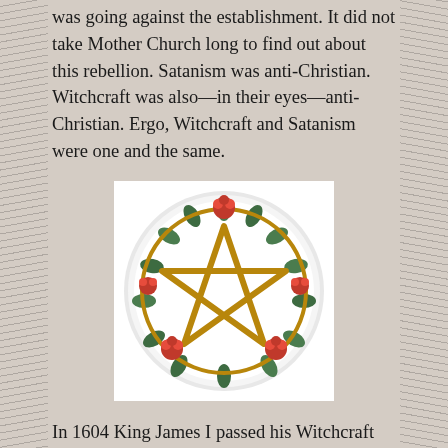was going against the establishment. It did not take Mother Church long to find out about this rebellion. Satanism was anti-Christian. Witchcraft was also—in their eyes—anti-Christian. Ergo, Witchcraft and Satanism were one and the same.
[Figure (photo): A decorative white plate featuring a gold pentagram star in the center, surrounded by a wreath of green leaves and red roses.]
In 1604 King James I passed his Witchcraft Act, but this was repealed in 1736. It was replaced by an Act that stated that there was no such thing as Witchcraft and to pretend to